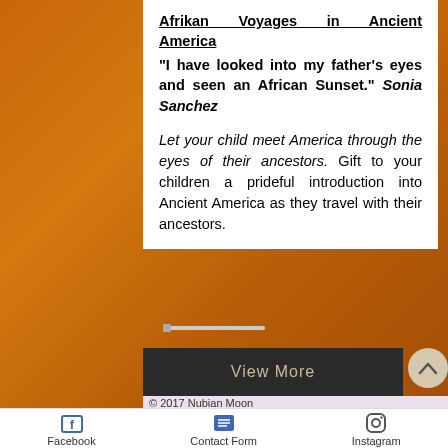Afrikan Voyages in Ancient America
"I have looked into my father's eyes and seen an African Sunset." Sonia Sanchez
Let your child meet America through the eyes of their ancestors. Gift to your children a prideful introduction into Ancient America as they travel with their ancestors.
[Figure (screenshot): View More dark button and scroll-up circular button]
© 2017 Nubian Moon
Facebook | Contact Form | Instagram